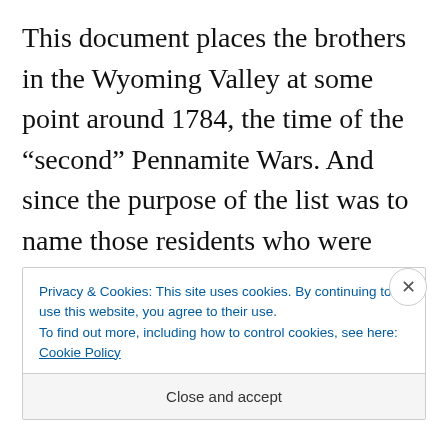This document places the brothers in the Wyoming Valley at some point around 1784, the time of the “second” Pennamite Wars. And since the purpose of the list was to name those residents who were resolved to stay in the Valley, it’s presumed they continued to reside there for a time.
Privacy & Cookies: This site uses cookies. By continuing to use this website, you agree to their use.
To find out more, including how to control cookies, see here: Cookie Policy
Close and accept